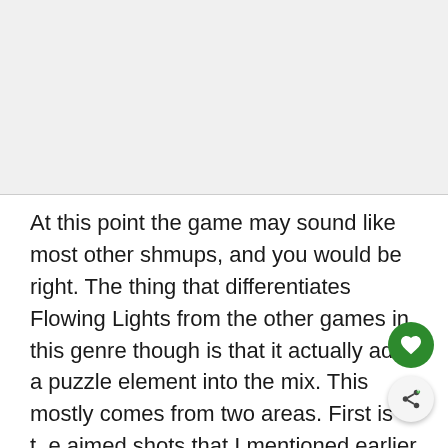[Figure (photo): Light gray placeholder image area at the top of the page]
At this point the game may sound like most other shmups, and you would be right. The thing that differentiates Flowing Lights from the other games in this genre though is that it actually adds a puzzle element into the mix. This mostly comes from two areas. First is the aimed shots that I mentioned earlier. You could go in guns blazing, but in many situations there is a more elegant solution. To complete many of the objectives you need to make shots where you eliminate two or more